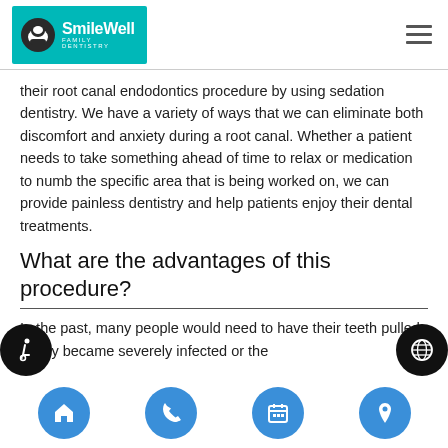SmileWell Family Dentistry
their root canal endodontics procedure by using sedation dentistry. We have a variety of ways that we can eliminate both discomfort and anxiety during a root canal. Whether a patient needs to take something ahead of time to relax or medication to numb the specific area that is being worked on, we can provide painless dentistry and help patients enjoy their dental treatments.
What are the advantages of this procedure?
In the past, many people would need to have their teeth pulled if they became severely infected or the...